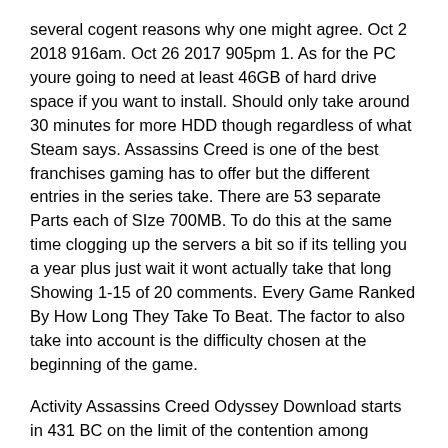several cogent reasons why one might agree. Oct 2 2018 916am. Oct 26 2017 905pm 1. As for the PC youre going to need at least 46GB of hard drive space if you want to install. Should only take around 30 minutes for more HDD though regardless of what Steam says. Assassins Creed is one of the best franchises gaming has to offer but the different entries in the series take. There are 53 separate Parts each of SIze 700MB. To do this at the same time clogging up the servers a bit so if its telling you a year plus just wait it wont actually take that long Showing 1-15 of 20 comments. Every Game Ranked By How Long They Take To Beat. The factor to also take into account is the difficulty chosen at the beginning of the game.
Activity Assassins Creed Odyssey Download starts in 431 BC on the limit of the contention among Sparta and Athens in history course readings settled as the Peloponnesian conflict. Assassins Creed Odyssey Pc Download. How long does it take to install assassins creed odyssey Choose your fate in Assassins Creed Odyssey. Finally Assassins Creed Odyssey unlocks on Steam at 12 pm.